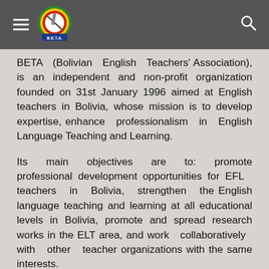BETA – Bolivian English Teachers' Association website header with logo, hamburger menu, and search icon
BETA (Bolivian English Teachers' Association), is an independent and non-profit organization founded on 31st January 1996 aimed at English teachers in Bolivia, whose mission is to develop expertise, enhance professionalism in English Language Teaching and Learning.
Its main objectives are to: promote professional development opportunities for EFL teachers in Bolivia, strengthen the English language teaching and learning at all educational levels in Bolivia, promote and spread research works in the ELT area, and work collaboratively with other teacher organizations with the same interests.